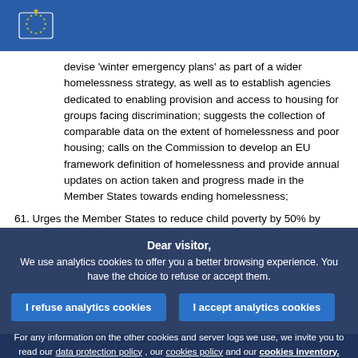European Parliament header with logo
devise 'winter emergency plans' as part of a wider homelessness strategy, as well as to establish agencies dedicated to enabling provision and access to housing for groups facing discrimination; suggests the collection of comparable data on the extent of homelessness and poor housing; calls on the Commission to develop an EU framework definition of homelessness and provide annual updates on action taken and progress made in the Member States towards ending homelessness;
61. Urges the Member States to reduce child poverty by 50% by 2012, such a reduction to be measured using indicators that could be established by the Commission; calls on all MS to eradicate child poverty with a set of common indicators, sufficient Resources (early education and child care, sufficient income...
Dear visitor,
We use analytics cookies to offer you a better browsing experience. You have the choice to refuse or accept them.
[I refuse analytics cookies] [I accept analytics cookies]
For any information on the other cookies and server logs we use, we invite you to read our data protection policy , our cookies policy and our cookies inventory.
62. Highlights the importance of promoting integrated services...